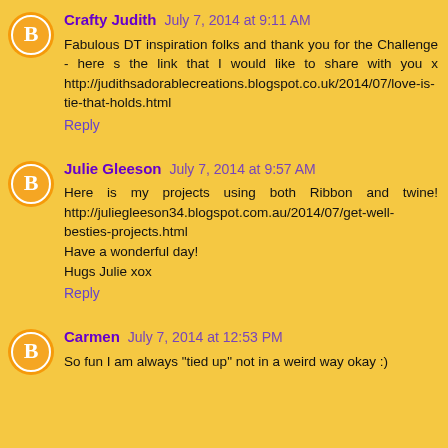Crafty Judith — July 7, 2014 at 9:11 AM
Fabulous DT inspiration folks and thank you for the Challenge - here s the link that I would like to share with you x http://judithsadorablecreations.blogspot.co.uk/2014/07/love-is-tie-that-holds.html
Reply
Julie Gleeson — July 7, 2014 at 9:57 AM
Here is my projects using both Ribbon and twine! http://juliegleeson34.blogspot.com.au/2014/07/get-well-besties-projects.html
Have a wonderful day!
Hugs Julie xox
Reply
Carmen — July 7, 2014 at 12:53 PM
So fun I am always "tied up" not in a weird way okay :)